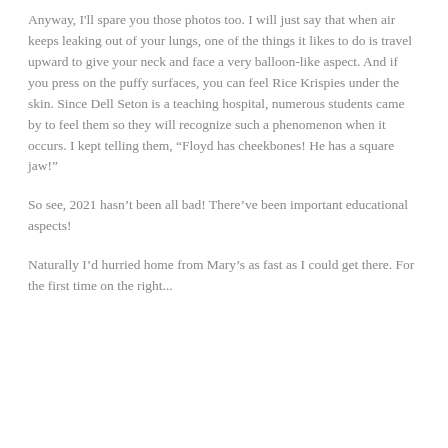Anyway, I'll spare you those photos too. I will just say that when air keeps leaking out of your lungs, one of the things it likes to do is travel upward to give your neck and face a very balloon-like aspect. And if you press on the puffy surfaces, you can feel Rice Krispies under the skin. Since Dell Seton is a teaching hospital, numerous students came by to feel them so they will recognize such a phenomenon when it occurs. I kept telling them, “Floyd has cheekbones! He has a square jaw!”
So see, 2021 hasn’t been all bad! There’ve been important educational aspects!
Naturally I’d hurried home from Mary’s as fast as I could get there. For the first time on the right...